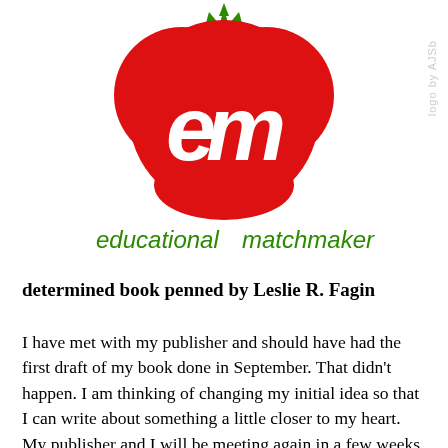[Figure (logo): Educational Matchmaker logo: red tomato/heart shape with white letters 'em' inside, green stem on top, with text 'educational matchmaker' in green below. Watermark text 'logo by AJSb' rotated vertically on right side.]
determined book penned by Leslie R. Fagin
I have met with my publisher and should have had the first draft of my book done in September. That didn't happen. I am thinking of changing my initial idea so that I can write about something a little closer to my heart. My publisher and I will be meeting again in a few weeks to discuss the direction of my book